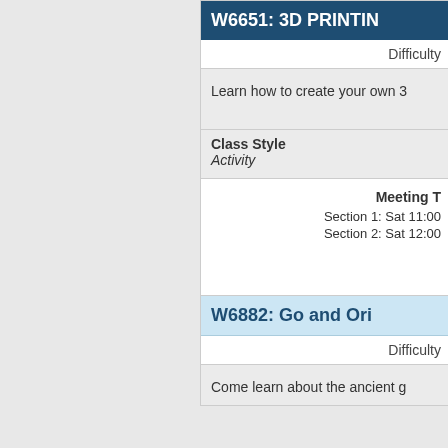W6651: 3D PRINTING
Difficulty
Learn how to create your own 3
Class Style
Activity
Meeting T
Section 1: Sat 11:00
Section 2: Sat 12:00
W6882: Go and Ori
Difficulty
Come learn about the ancient g